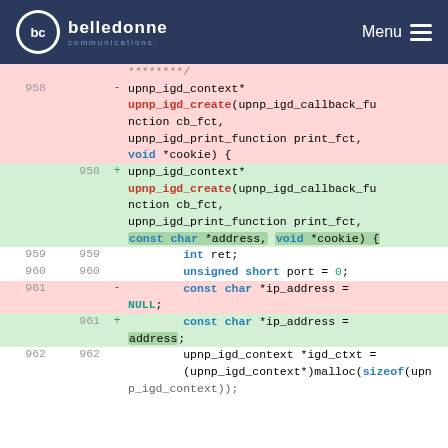belledonne communications — Menu
[Figure (screenshot): Code diff view showing changes to upnp_igd_create function signature adding const char *address parameter, and upnp_igd_context with ip_address initialization change from NULL to address.]